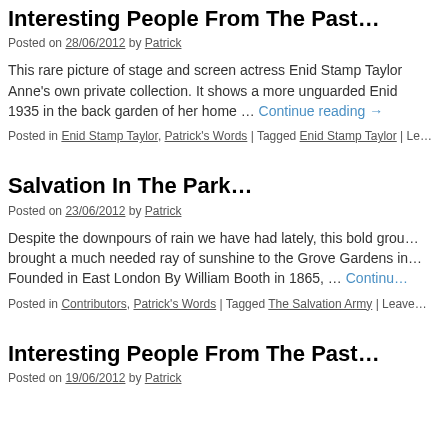Interesting People From The Past…
Posted on 28/06/2012 by Patrick
This rare picture of stage and screen actress Enid Stamp Taylor … Anne's own private collection. It shows a more unguarded Enid … 1935 in the back garden of her home … Continue reading →
Posted in Enid Stamp Taylor, Patrick's Words | Tagged Enid Stamp Taylor | Le…
Salvation In The Park…
Posted on 23/06/2012 by Patrick
Despite the downpours of rain we have had lately, this bold grou… brought a much needed ray of sunshine to the Grove Gardens in… Founded in East London By William Booth in 1865, … Continu…
Posted in Contributors, Patrick's Words | Tagged The Salvation Army | Leave…
Interesting People From The Past…